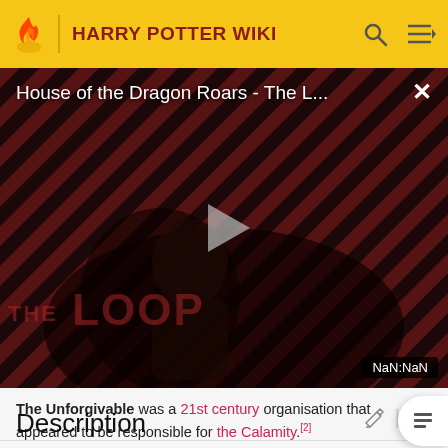HARRY POTTER WIKI
[Figure (screenshot): Video thumbnail for 'House of the Dragon Roars - The L...' with diagonal red/black stripes background, a play button in the center, a figure/person partially visible, 'THE LOOP' text watermark, close button (×) top right, and 'NaN:NaN' timer bottom right.]
The Unforgivable was a 21st century organisation that appeared to be responsible for the Calamity.[2]
Description
A mysterious organisation that was discovered to have...